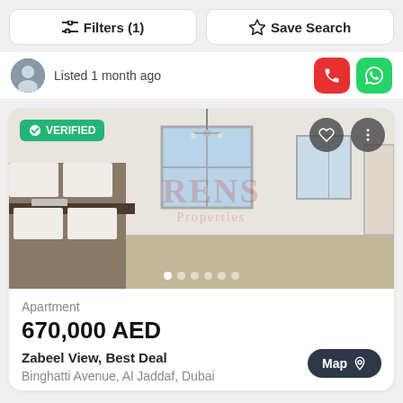Filters (1)   Save Search
Listed 1 month ago
[Figure (photo): Interior photo of an apartment showing an open-plan kitchen and living area with white walls, large windows, and a chandelier. Watermark reads RENS Properties.]
Apartment
670,000 AED
Zabeel View, Best Deal
Binghatti Avenue, Al Jaddaf, Dubai